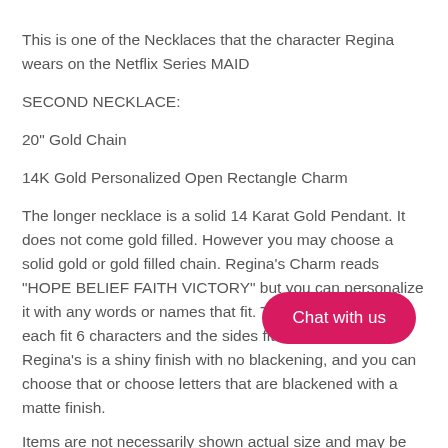This is one of the Necklaces that the character Regina wears on the Netflix Series MAID
SECOND NECKLACE:
20" Gold Chain
14K Gold Personalized Open Rectangle Charm
The longer necklace is a solid 14 Karat Gold Pendant. It does not come gold filled. However you may choose a solid gold or gold filled chain. Regina's Charm reads "HOPE BELIEF FAITH VICTORY" but you can personalize it with any words or names that fit. The top and bottom each fit 6 characters and the sides fit 7 characters. Regina's is a shiny finish with no blackening, and you can choose that or choose letters that are blackened with a matte finish.
Items are not necessarily shown actual size and may be enlarged to show detail. All screen resolutions are different so please note